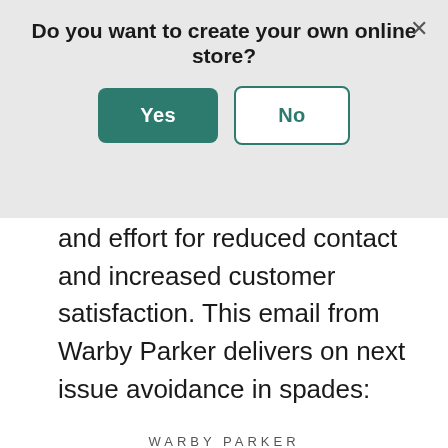Do you want to create your own online store?
[Figure (screenshot): Modal dialog with Yes (green filled button) and No (green outlined button) options, with X close button in top right]
and effort for reduced contact and increased customer satisfaction. This email from Warby Parker delivers on next issue avoidance in spades:
[Figure (screenshot): Warby Parker email screenshot showing header 'WARBY PARKER' with horizontal rule, greeting 'Hi Desirae,' customer service email with options for lens replacement including numbered list with exchange and refund options, and quick note about Home Try-On]